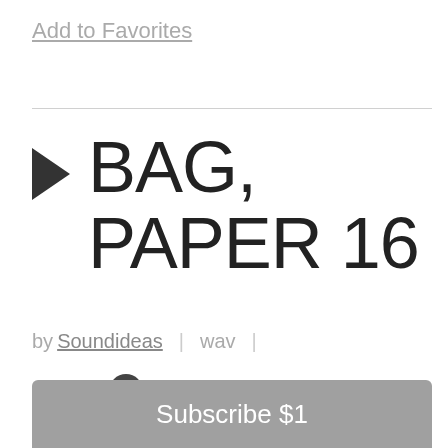Add to Favorites
BAG, PAPER 16
by Soundideas | wav | 0:02 |
Subscribe $1